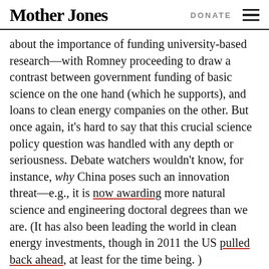Mother Jones | DONATE
about the importance of funding university-based research—with Romney proceeding to draw a contrast between government funding of basic science on the one hand (which he supports), and loans to clean energy companies on the other. But once again, it's hard to say that this crucial science policy question was handled with any depth or seriousness. Debate watchers wouldn't know, for instance, why China poses such an innovation threat—e.g., it is now awarding more natural science and engineering doctoral degrees than we are. (It has also been leading the world in clean energy investments, though in 2011 the US pulled back ahead, at least for the time being. )